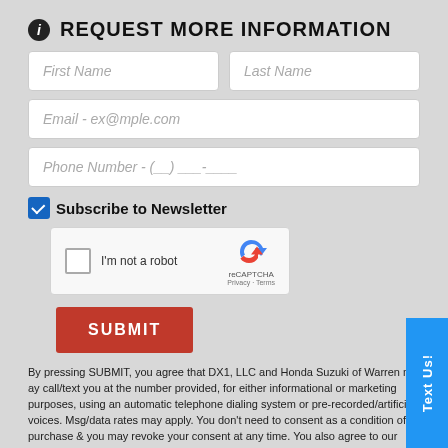REQUEST MORE INFORMATION
First Name
Last Name
Email - ex@mple.com
Phone Number - (__) ___-____
Subscribe to Newsletter
[Figure (other): reCAPTCHA widget with checkbox 'I'm not a robot' and reCAPTCHA logo with Privacy and Terms links]
SUBMIT
By pressing SUBMIT, you agree that DX1, LLC and Honda Suzuki of Warren may call/text you at the number provided, for either informational or marketing purposes, using an automatic telephone dialing system or pre-recorded/artificial voices. Msg/data rates may apply. You don't need to consent as a condition of a purchase & you may revoke your consent at any time. You also agree to our Privacy